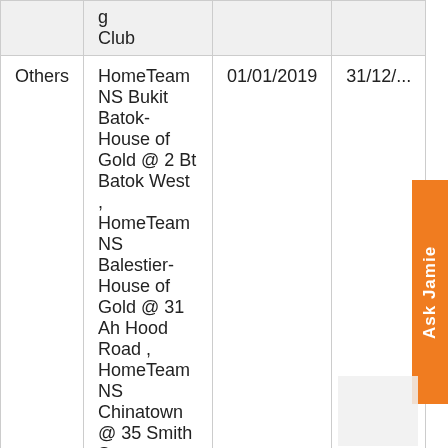|  | Club |  |  |
| --- | --- | --- | --- |
| Others | HomeTeam NS Bukit Batok- House of Gold @ 2 Bt Batok West , HomeTeam NS Balestier- House of Gold @ 31 Ah Hood Road , HomeTeam NS Chinatown @ 35 Smith St , HomeTeam NS Sembawang | 01/01/2019 | 31/12/... |